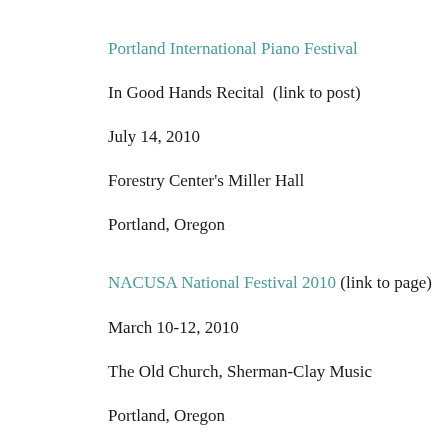Portland International Piano Festival
In Good Hands Recital  (link to post)
July 14, 2010
Forestry Center's Miller Hall
Portland, Oregon
NACUSA National Festival 2010 (link to page)
March 10-12, 2010
The Old Church, Sherman-Clay Music
Portland, Oregon
AUTUMN CONCERT (link to page)
October 30, 2009
Colonial Heights Presbyterian
Portland, Oreg…